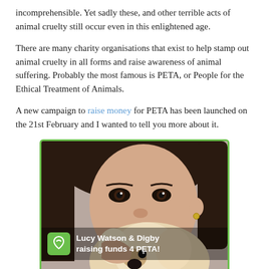incomprehensible. Yet sadly these, and other terrible acts of animal cruelty still occur even in this enlightened age.
There are many charity organisations that exist to help stamp out animal cruelty in all forms and raise awareness of animal suffering. Probably the most famous is PETA, or People for the Ethical Treatment of Animals.
A new campaign to raise money for PETA has been launched on the 21st February and I wanted to tell you more about it.
[Figure (photo): Photo of Lucy Watson holding a small fluffy dog (Digby) close to her face, with a green-bordered frame. An overlay bar at the bottom shows a green icon with a ribbon symbol and the text 'Lucy Watson & Digby raising funds 4 PETA!']